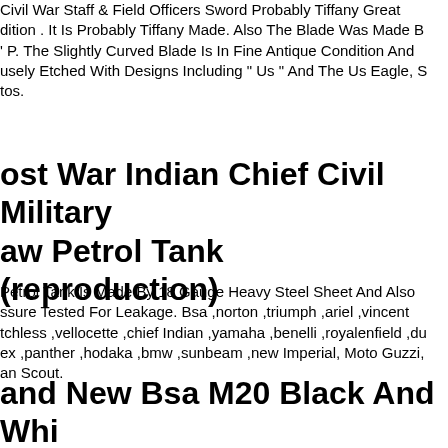Civil War Staff & Field Officers Sword Probably Tiffany Great dition . It Is Probably Tiffany Made. Also The Blade Was Made B ' P. The Slightly Curved Blade Is In Fine Antique Condition And usely Etched With Designs Including " Us " And The Us Eagle, S tos.
ost War Indian Chief Civil Military aw Petrol Tank (reproduction)
Petrol Tank Is Made By 18 Gauge Heavy Steel Sheet And Also ssure Tested For Leakage. Bsa ,norton ,triumph ,ariel ,vincent tchless ,vellocette ,chief Indian ,yamaha ,benelli ,royalenfield ,du ex ,panther ,hodaka ,bmw ,sunbeam ,new Imperial, Moto Guzzi, an Scout.
and New Bsa M20 Black And Whi ainted Petrol Tank "civil Model"